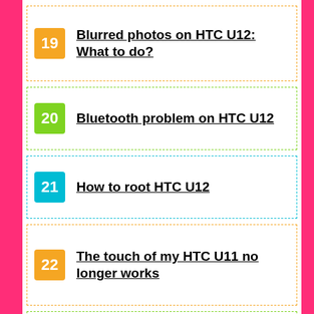19 Blurred photos on HTC U12: What to do?
20 Bluetooth problem on HTC U12
21 How to root HTC U12
22 The touch of my HTC U11 no longer works
23 My HTC U12 screen no longer